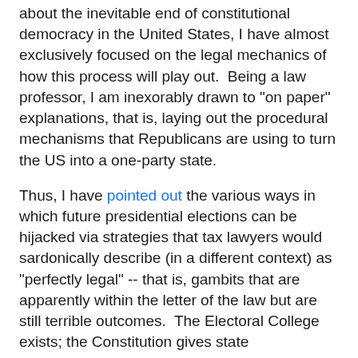about the inevitable end of constitutional democracy in the United States, I have almost exclusively focused on the legal mechanics of how this process will play out. Being a law professor, I am inexorably drawn to "on paper" explanations, that is, laying out the procedural mechanisms that Republicans are using to turn the US into a one-party state.
Thus, I have pointed out the various ways in which future presidential elections can be hijacked via strategies that tax lawyers would sardonically describe (in a different context) as "perfectly legal" -- that is, gambits that are apparently within the letter of the law but are still terrible outcomes. The Electoral College exists; the Constitution gives state governments the power to choose electors in utterly non-democratic ways; the Supreme Court has made it clear that Republicans can suppress votes and gerrymander at will; the Court might go even further and endorse the so-called Independent State Legislature theory to cut Democratic governors out of the process; and so on.
Earlier this summer, I pointed out that those mechanisms are ultimately put into operation by people, and we need to